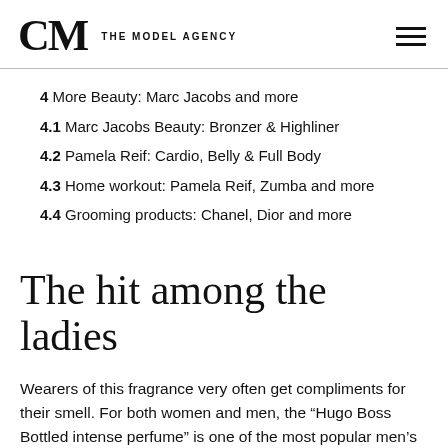CM THE MODEL AGENCY
4  More Beauty: Marc Jacobs and more
4.1  Marc Jacobs Beauty: Bronzer & Highliner
4.2  Pamela Reif: Cardio, Belly & Full Body
4.3  Home workout: Pamela Reif, Zumba and more
4.4  Grooming products: Chanel, Dior and more
The hit among the ladies
Wearers of this fragrance very often get compliments for their smell. For both women and men, the “Hugo Boss Bottled intense perfume” is one of the most popular men’s fragrances. Women are especially enthusiastic about this fragrance on men. The fragrance